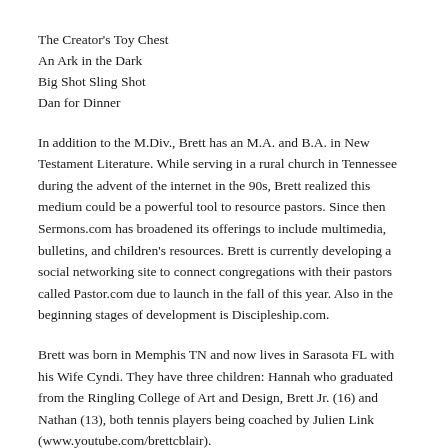The Creator's Toy Chest
An Ark in the Dark
Big Shot Sling Shot
Dan for Dinner
In addition to the M.Div., Brett has an M.A. and B.A. in New Testament Literature. While serving in a rural church in Tennessee during the advent of the internet in the 90s, Brett realized this medium could be a powerful tool to resource pastors. Since then Sermons.com has broadened its offerings to include multimedia, bulletins, and children's resources. Brett is currently developing a social networking site to connect congregations with their pastors called Pastor.com due to launch in the fall of this year. Also in the beginning stages of development is Discipleship.com.
Brett was born in Memphis TN and now lives in Sarasota FL with his Wife Cyndi. They have three children: Hannah who graduated from the Ringling College of Art and Design, Brett Jr. (16) and Nathan (13), both tennis players being coached by Julien Link (www.youtube.com/brettcblair).